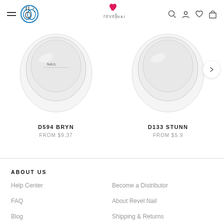[Figure (screenshot): Revel Nail e-commerce website header with hamburger menu, cruelty-free logo, Revel Nail logo, and icons for search, account, wishlist, and cart]
[Figure (photo): Product image of D594 BRYN nail dip powder container, partially cropped at top]
D594 BRYN
FROM $9.37
[Figure (photo): Product image of D133 STUNN nail dip powder container, partially cropped at top and right]
D133 STUNN
FROM $5.9
ABOUT US
Help Center
Become a Distributor
FAQ
About Revel Nail
Blog
Shipping & Returns
Start a Return
Privacy Policy